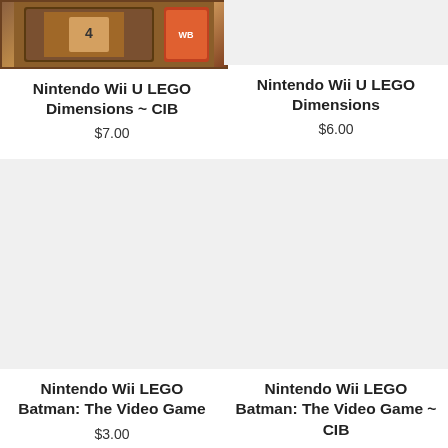[Figure (photo): Product image of Nintendo Wii U LEGO Dimensions CIB game]
Nintendo Wii U LEGO Dimensions ~ CIB
$7.00
[Figure (photo): Product image placeholder for Nintendo Wii U LEGO Dimensions]
Nintendo Wii U LEGO Dimensions
$6.00
[Figure (photo): Product image placeholder for Nintendo Wii LEGO Batman: The Video Game]
Nintendo Wii LEGO Batman: The Video Game
$3.00
[Figure (photo): Product image placeholder for Nintendo Wii LEGO Batman: The Video Game CIB]
Nintendo Wii LEGO Batman: The Video Game ~ CIB
$10.00